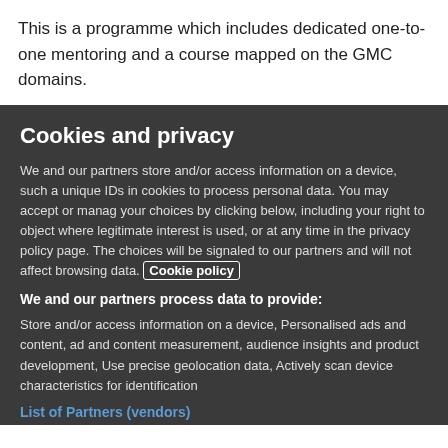This is a programme which includes dedicated one-to-one mentoring and a course mapped on the GMC domains.
Cookies and privacy
We and our partners store and/or access information on a device, such a unique IDs in cookies to process personal data. You may accept or manage your choices by clicking below, including your right to object where legitimate interest is used, or at any time in the privacy policy page. These choices will be signaled to our partners and will not affect browsing data. Cookie policy
We and our partners process data to provide:
Store and/or access information on a device, Personalised ads and content, ad and content measurement, audience insights and product development, Use precise geolocation data, Actively scan device characteristics for identification
List of Partners (vendors)
I Accept